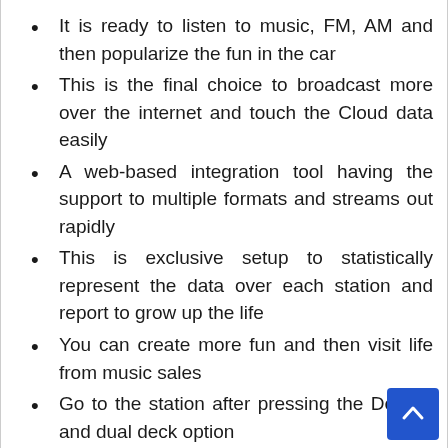It is ready to listen to music, FM, AM and then popularize the fun in the car
This is the final choice to broadcast more over the internet and touch the Cloud data easily
A web-based integration tool having the support to multiple formats and streams out rapidly
This is exclusive setup to statistically represent the data over each station and report to grow up the life
You can create more fun and then visit life from music sales
Go to the station after pressing the Deck A and dual deck option
Allowing you to take a queue and position to the next level of song